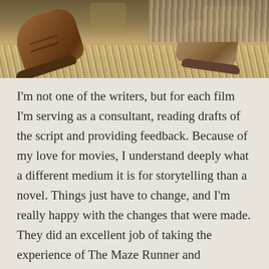[Figure (photo): A photograph showing boots/shoes resting among straw or dried grass/hay on the ground, outdoor setting]
I'm not one of the writers, but for each film I'm serving as a consultant, reading drafts of the script and providing feedback. Because of my love for movies, I understand deeply what a different medium it is for storytelling than a novel. Things just have to change, and I'm really happy with the changes that were made. They did an excellent job of taking the experience of The Maze Runner and transforming that into a cinematic version. The telepathy was a hard, but necessary decision. It works great in a book, but when you try that onscreen, it just comes across as hokey or cheesy. We didn't want to risk that